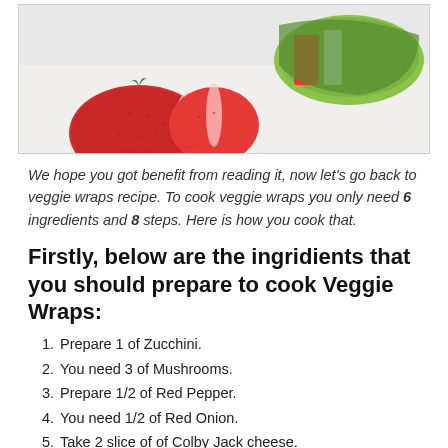[Figure (photo): Photo of veggie wraps with strawberries and avocado on a white surface]
We hope you got benefit from reading it, now let's go back to veggie wraps recipe. To cook veggie wraps you only need 6 ingredients and 8 steps. Here is how you cook that.
Firstly, below are the ingridients that you should prepare to cook Veggie Wraps:
Prepare 1 of Zucchini.
You need 3 of Mushrooms.
Prepare 1/2 of Red Pepper.
You need 1/2 of Red Onion.
Take 2 slice of of Colby Jack cheese.